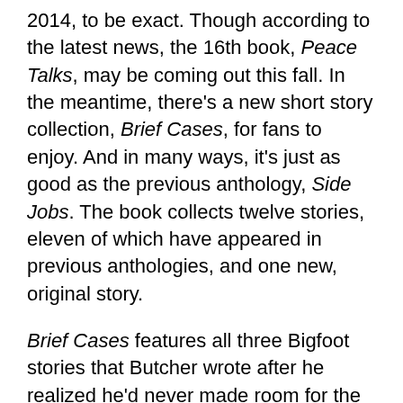2014, to be exact. Though according to the latest news, the 16th book, Peace Talks, may be coming out this fall. In the meantime, there's a new short story collection, Brief Cases, for fans to enjoy. And in many ways, it's just as good as the previous anthology, Side Jobs. The book collects twelve stories, eleven of which have appeared in previous anthologies, and one new, original story.
Brief Cases features all three Bigfoot stories that Butcher wrote after he realized he'd never made room for the renowned cryptid in his urban fantasy world. White Council Anastasia Luccio gets her own story set in the Wild West with a certain Wyatt Earp. Molly Carpenter, who Butcher feels hasn't gotten enough page time, gets a couple stories. Butters even gets to tell his own tale as a Knight of the Cross. The final story, which is more a novella, is original to the collection and features three very different characters telling the same story from their